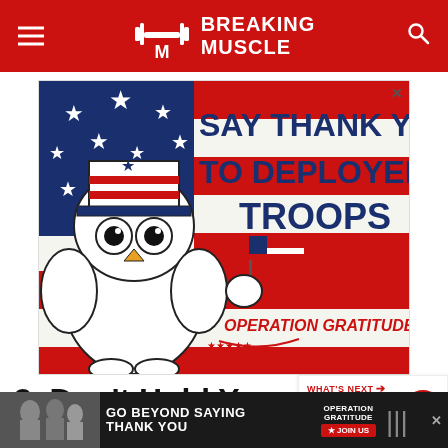Breaking Muscle
[Figure (illustration): Advertisement banner for Operation Gratitude: cartoon owl wearing Uncle Sam hat holding American flag, text reads SAY THANK YOU TO DEPLOYED TROOPS, Operation Gratitude logo at bottom]
3. Don’t Hold Yourself B…
WHAT'S NEXT → Bodybuilder Samson…
Something magical happens during the Open
Fe…                                          untless
[Figure (illustration): Bottom advertisement banner for Operation Gratitude: GO BEYOND SAYING THANK YOU with JOIN US button and Operation Gratitude logo]